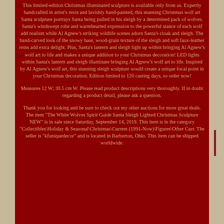This limited-edition Christmas illuminated sculpture is available only from us. Expertly handcrafted in artist's resin and lavishly hand-painted, this stunning Christmas wolf art Santa sculpture portrays Santa being pulled in his sleigh by a determined pack of wolves. Santa's windswept robe and warmhearted expression to the powerful stance of each wolf add realism while Al Agnew's striking wildlife scenes adorn Santa's cloak and sleigh. The hand-carved look of the snowy base, wood-grain texture of the sleigh and soft faux-leather reins add extra delight. Plus, Santa's lantern and sleigh light up within bringing Al Agnew's wolf art to life and makes a unique addition to your Christmas decoration! LED lights within Santa's lantern and sleigh illuminate bringing Al Agnew's wolf art to life. Inspired by Al Agnew's wolf art, this stunning sleigh sculpture would create a unique focal point in your Christmas decoration. Edition limited to 120 casting days, so order now!
Measures 12 W; 30.5 cm W. Please read product descriptions very thoroughly. If in doubt regarding a product detail, please ask a question.
Thank you for looking and be sure to check out my other auctions for more great deals. The item "The White Wolves Spirit Guide Santa Sleigh Lighted Christmas Sculpture NEW" is in sale since Saturday, September 14, 2019. This item is in the category "Collectibles\Holiday & Seasonal\Christmas\Current (1991-Now)\Figures\Other Curr. The seller is "kfuniquedecor" and is located in Barberton, Ohio. This item can be shipped worldwide.